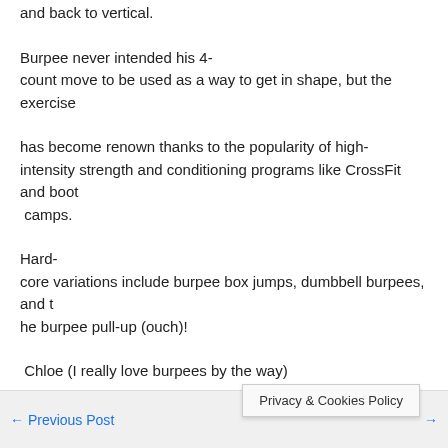and back to vertical.
Burpee never intended his 4-count move to be used as a way to get in shape, but the exercise
has become renown thanks to the popularity of high-intensity strength and conditioning programs like CrossFit and boot camps.
Hard-core variations include burpee box jumps, dumbbell burpees, and the burpee pull-up (ouch)!
Chloe (I really love burpees by the way)
Reference: ‘Where Do Burpees Come From?’ Tamarkin, S. (2014)
← Previous Post  |  Next Post →  Privacy & Cookies Policy